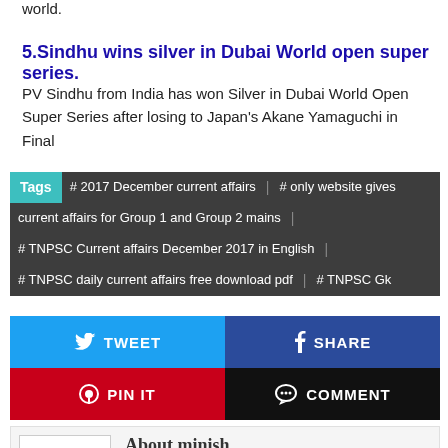world.
5.Sindhu wins silver in Dubai World open super series.
PV Sindhu from India has won Silver in Dubai World Open Super Series after losing to Japan's Akane Yamaguchi in Final
Tags  # 2017 December current affairs  |  # only website gives current affairs for Group 1 and Group 2 mains  |  # TNPSC Current affairs December 2017 in English  |  # TNPSC daily current affairs free download pdf  |  # TNPSC Gk
[Figure (infographic): Social share buttons: Tweet (blue), Share (dark blue), Pin It (red), Comment (black)]
[Figure (infographic): Author box with Author Image placeholder and About minish heading and social icons]